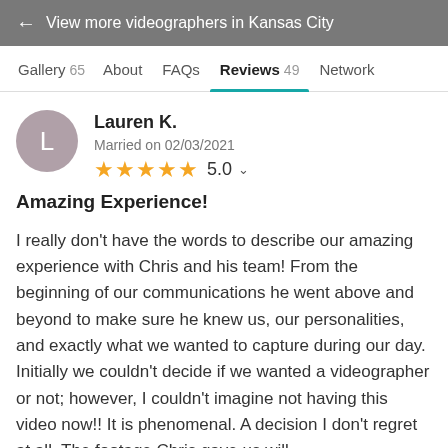← View more videographers in Kansas City
Gallery 65   About   FAQs   Reviews 49   Network
Lauren K.
Married on 02/03/2021
★★★★★ 5.0
Amazing Experience!
I really don't have the words to describe our amazing experience with Chris and his team! From the beginning of our communications he went above and beyond to make sure he knew us, our personalities, and exactly what we wanted to capture during our day. Initially we couldn't decide if we wanted a videographer or not; however, I couldn't imagine not having this video now!! It is phenomenal. A decision I don't regret at all. The footage Chris gave us will